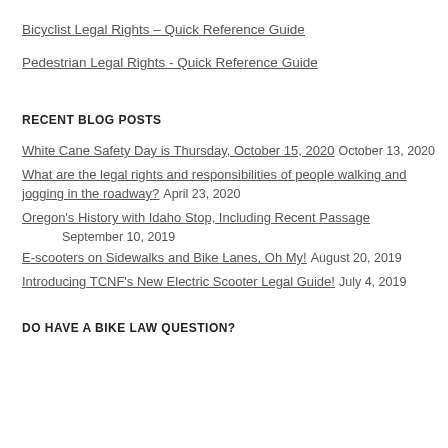Bicyclist Legal Rights – Quick Reference Guide
Pedestrian Legal Rights - Quick Reference Guide
RECENT BLOG POSTS
White Cane Safety Day is Thursday, October 15, 2020    October 13, 2020
What are the legal rights and responsibilities of people walking and jogging in the roadway?    April 23, 2020
Oregon's History with Idaho Stop, Including Recent Passage    September 10, 2019
E-scooters on Sidewalks and Bike Lanes, Oh My!    August 20, 2019
Introducing TCNF's New Electric Scooter Legal Guide!    July 4, 2019
DO HAVE A BIKE LAW QUESTION?